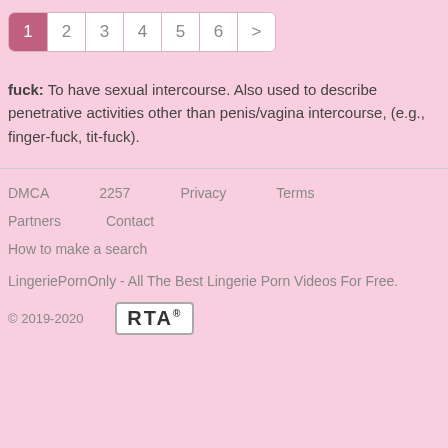1 2 3 4 5 6 >
fuck: To have sexual intercourse. Also used to describe penetrative activities other than penis/vagina intercourse, (e.g., finger-fuck, tit-fuck).
DMCA   2257   Privacy   Terms   Partners   Contact   How to make a search

LingeriePornOnly - All The Best Lingerie Porn Videos For Free.

© 2019-2020